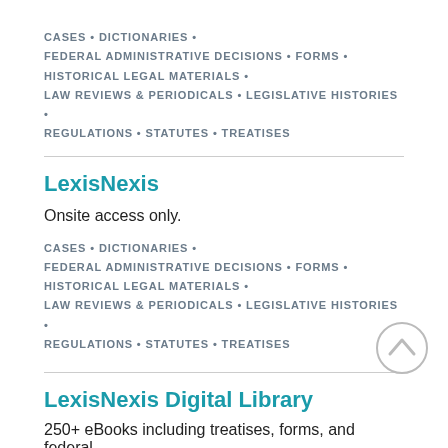CASES • DICTIONARIES • FEDERAL ADMINISTRATIVE DECISIONS • FORMS • HISTORICAL LEGAL MATERIALS • LAW REVIEWS & PERIODICALS • LEGISLATIVE HISTORIES • REGULATIONS • STATUTES • TREATISES
LexisNexis
Onsite access only.
CASES • DICTIONARIES • FEDERAL ADMINISTRATIVE DECISIONS • FORMS • HISTORICAL LEGAL MATERIALS • LAW REVIEWS & PERIODICALS • LEGISLATIVE HISTORIES • REGULATIONS • STATUTES • TREATISES
LexisNexis Digital Library
250+ eBooks including treatises, forms, and federal